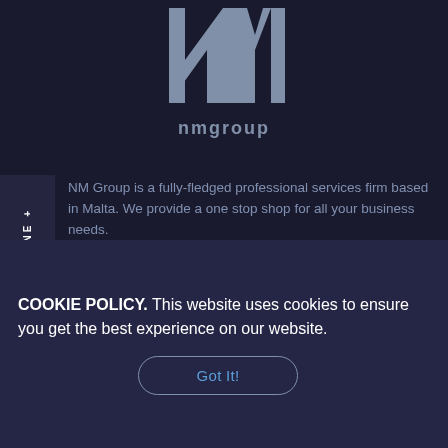[Figure (logo): NM Group logo - large stylized NM letters in grey on dark navy background]
nmgroup
NM Group is a fully-fledged professional services firm based in Malta. We provide a one stop shop for all your business needs.
ACCOUNTING
Cloud Accounting
COOKIE POLICY. This website uses cookies to ensure you get the best experience on our website.